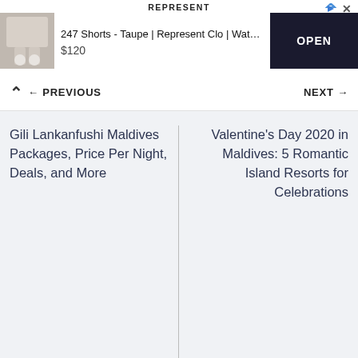[Figure (screenshot): Advertisement banner for Represent clothing brand showing '247 Shorts - Taupe | Represent Clo | Water Repellent Cargo' priced at $120 with an OPEN button and a thumbnail image of shorts]
← PREVIOUS
NEXT →
Gili Lankanfushi Maldives Packages, Price Per Night, Deals, and More
Valentine's Day 2020 in Maldives: 5 Romantic Island Resorts for Celebrations